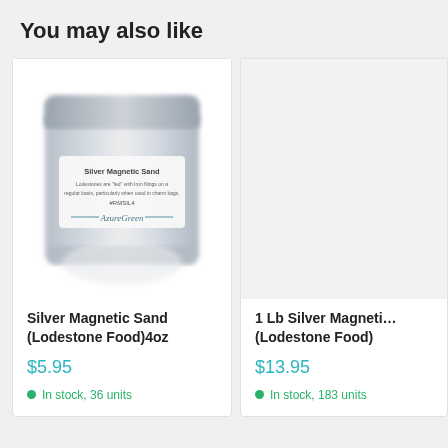You may also like
[Figure (photo): A silver foil resealable bag of Silver Magnetic Sand (Lodestone Food) with a label showing the product name and brand AzureGreen]
Silver Magnetic Sand (Lodestone Food)4oz
$5.95
In stock, 36 units
1 Lb Silver Magnetic (Lodestone Food)
$13.95
In stock, 183 units